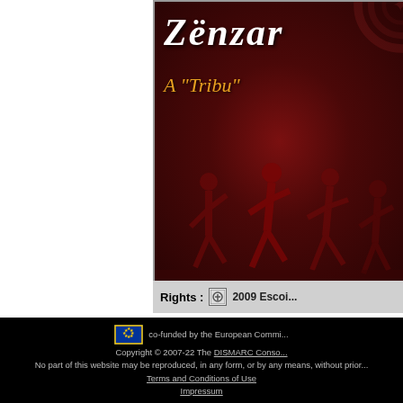[Figure (illustration): Album cover for 'Zënzar' with subtitle 'A "Tribu"'. Dark red/crimson background with silhouetted dancing figures and swirling pattern. White italic script title at top, orange italic subtitle below.]
Rights : 2009 Escoi...
co-funded by the European Commi...
Copyright © 2007-22 The DISMARC Conso...
No part of this website may be reproduced, in any form, or by any means, without prior...
Terms and Conditions of Use
Impressum
Servertime: 0.112 sec | Clienttime: 0.029 sec...